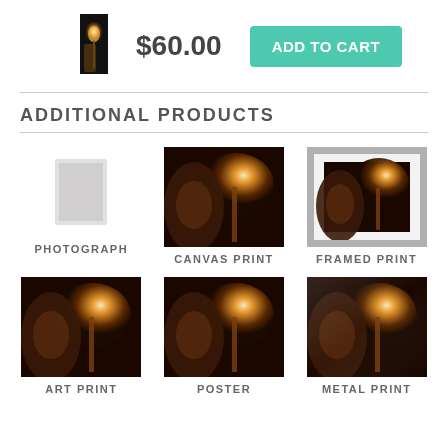[Figure (photo): Small thumbnail of candle/vase photo in dark tones]
$60.00
ADD TO CART
ADDITIONAL PRODUCTS
[Figure (photo): Photograph product - small placeholder square]
PHOTOGRAPH
[Figure (photo): Canvas print of candle and vase scene]
CANVAS PRINT
[Figure (photo): Framed print of candle and vase scene with silver frame]
FRAMED PRINT
[Figure (photo): Art print of candle and vase scene]
ART PRINT
[Figure (photo): Poster of candle and vase scene]
POSTER
[Figure (photo): Metal print of candle and vase scene]
METAL PRINT